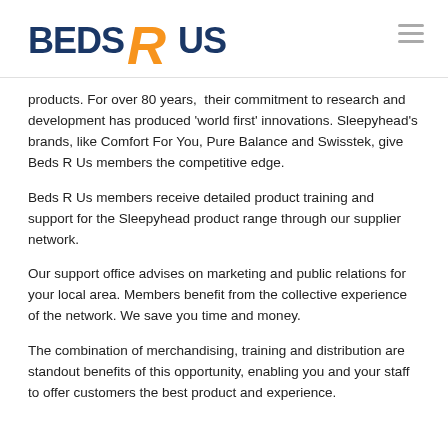BEDS R US
products. For over 80 years,  their commitment to research and development has produced 'world first' innovations. Sleepyhead's brands, like Comfort For You, Pure Balance and Swisstek, give Beds R Us members the competitive edge.
Beds R Us members receive detailed product training and support for the Sleepyhead product range through our supplier network.
Our support office advises on marketing and public relations for your local area. Members benefit from the collective experience of the network. We save you time and money.
The combination of merchandising, training and distribution are standout benefits of this opportunity, enabling you and your staff to offer customers the best product and experience.